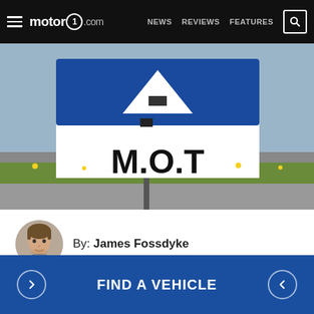motor1.com — NEWS  REVIEWS  FEATURES
[Figure (photo): M.O.T road sign with blue background and white triangle symbol, photographed outdoors with grass and road in background]
By: James Fossdyke
[Figure (infographic): Social sharing buttons: Facebook (blue), Flipboard (red), WhatsApp (green), More (grey)]
FIND A VEHICLE